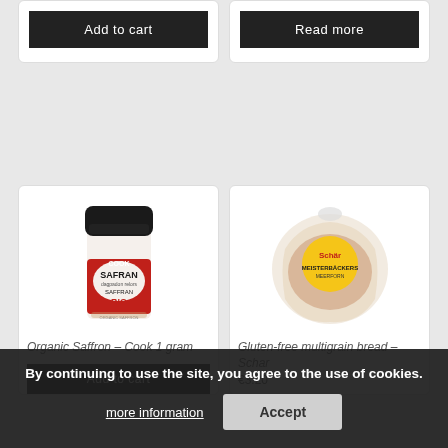[Figure (screenshot): E-commerce product listing page showing two partial product cards at top with Add to cart and Read more buttons, two product cards below (Cook Organic Saffron and Schar Meisterbäckers gluten-free bread), and a cookie consent banner at the bottom.]
Add to cart
Read more
[Figure (photo): Cook Safran Bio organic saffron spice jar with red label]
[Figure (photo): Schar Meisterbäckers gluten-free bread in clear packaging with yellow Schar logo]
Organic Saffron – Cook 1 gram
Gluten-free multigrain bread – Schar
€3.20
Add to cart
By continuing to use the site, you agree to the use of cookies.
more information
Accept